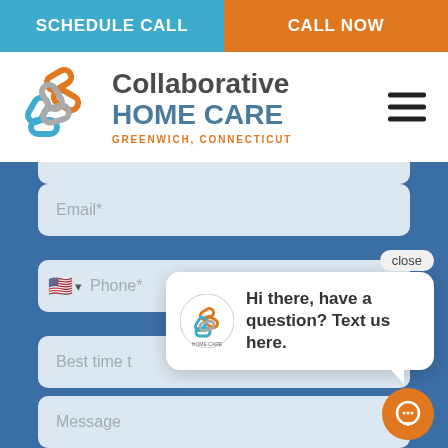[Figure (screenshot): Two-button top navigation bar: 'SCHEDULE CALL' on blue background and 'CALL NOW' on orange background]
[Figure (logo): Collaborative Home Care logo with interlocking chain links in orange and blue/gray, company name and Greenwich Connecticut subtitle]
[Figure (screenshot): Website contact form on blue background with Email, Phone, Best time, and Message input fields, plus a chat popup saying Hi there, have a question? Text us here.]